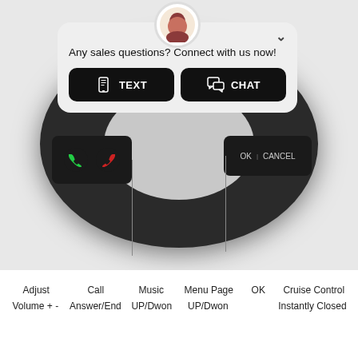[Figure (screenshot): Photograph of a car steering wheel control cluster (dark plastic buttons including call answer/end buttons on the left, and OK/CANCEL buttons on the right) with an overlaid chat popup widget. The popup shows an avatar photo of a woman, a chevron/close button, text 'Any sales questions? Connect with us now!', and two buttons: TEXT and CHAT.]
Any sales questions? Connect with us now!
Adjust
Volume + -
Call
Answer/End
Music
UP/Dwon
Menu Page
UP/Dwon
OK
Cruise Control
Instantly Closed